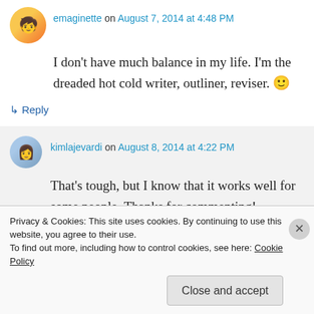emaginette on August 7, 2014 at 4:48 PM
I don't have much balance in my life. I'm the dreaded hot cold writer, outliner, reviser. 🙂
↳ Reply
kimlajevardi on August 8, 2014 at 4:22 PM
That's tough, but I know that it works well for some people. Thanks for commenting!
Privacy & Cookies: This site uses cookies. By continuing to use this website, you agree to their use. To find out more, including how to control cookies, see here: Cookie Policy
Close and accept